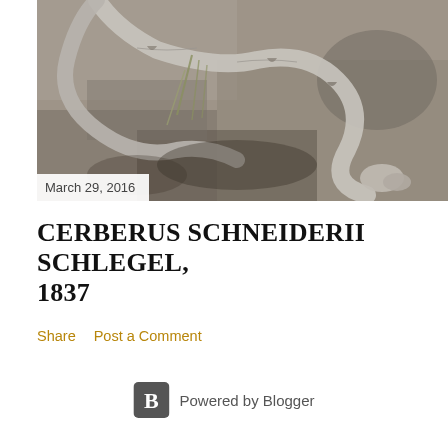[Figure (photo): Black and white photograph of a snake (Cerberus schneiderii) coiled on rocky ground with some vegetation visible]
March 29, 2016
CERBERUS SCHNEIDERII SCHLEGEL, 1837
Share   Post a Comment
Powered by Blogger